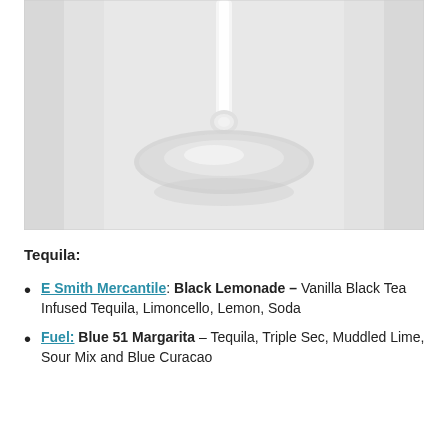[Figure (photo): Close-up photograph of the base and stem of a clear glass wine or martini glass against a light gray background.]
Tequila:
E Smith Mercantile: Black Lemonade – Vanilla Black Tea Infused Tequila, Limoncello, Lemon, Soda
Fuel: Blue 51 Margarita – Tequila, Triple Sec, Muddled Lime, Sour Mix and Blue Curacao